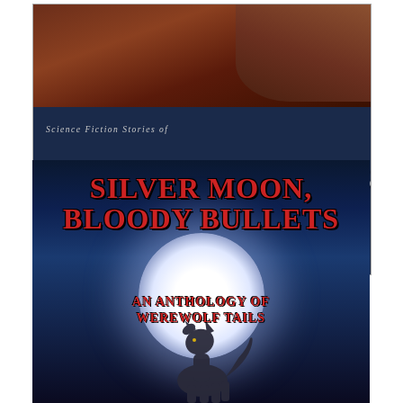[Figure (illustration): Book cover for 'Science Fiction Stories of Barren Worlds' edited by Eric T. Reynolds with Adam Nakama and Rob Darnell. Dark navy blue background with reddish-brown rocky terrain at top. Large white bold title text 'BARREN WORLDS' with subtitle 'SCIENCE FICTION STORIES OF' above and editor credits below.]
[Figure (illustration): Book cover for 'Silver Moon, Bloody Bullets: An Anthology of Werewolf Tails'. Dark blue/night sky background with large glowing white moon. Red bold title text at top. A wolf silhouette howling at the moon in the foreground. Subtitle 'AN ANTHOLOGY OF WEREWOLF TAILS' in red text below the title.]